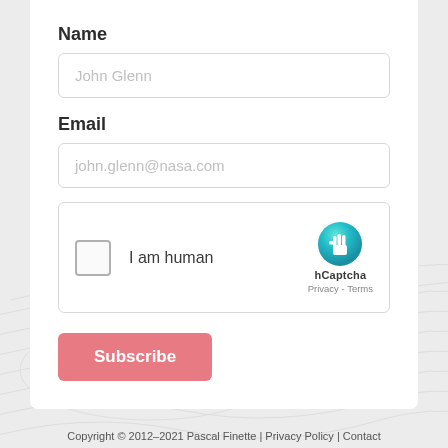Name
John Glenn
Email
john.glenn@nasa.com
[Figure (other): hCaptcha widget with checkbox labeled 'I am human' and hCaptcha logo with Privacy and Terms links]
Subscribe
Copyright © 2012–2021 Pascal Finette | Privacy Policy | Contact